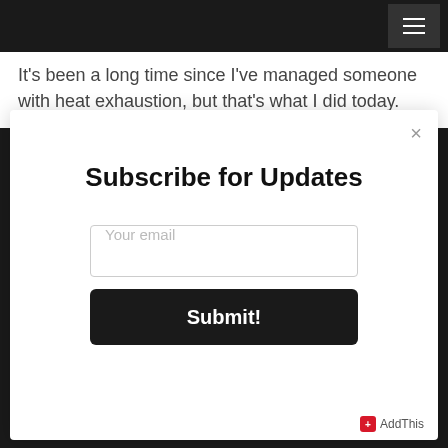It's been a long time since I've managed someone with heat exhaustion, but that's what I did today.
Subscribe for Updates
Your email
Submit!
AddThis